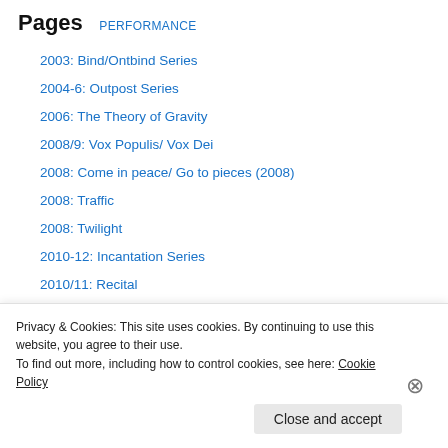Pages
PERFORMANCE
2003: Bind/Ontbind Series
2004-6: Outpost Series
2006: The Theory of Gravity
2008/9: Vox Populis/ Vox Dei
2008: Come in peace/ Go to pieces (2008)
2008: Traffic
2008: Twilight
2010-12: Incantation Series
2010/11: Recital
2010: Biblioclast (Action with Afrikaans/Dutch Dictionary)
2010: Figurehead
Privacy & Cookies: This site uses cookies. By continuing to use this website, you agree to their use.
To find out more, including how to control cookies, see here: Cookie Policy
Close and accept